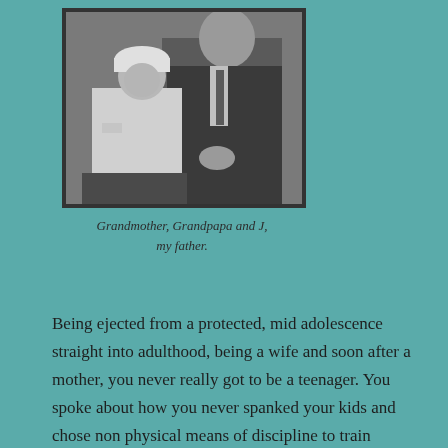[Figure (photo): Black and white photograph of a man holding a baby/toddler on his lap. The child is wearing a white outfit and hat. The man is wearing a suit and tie. Studio portrait style.]
Grandmother, Grandpapa and J, my father.
Being ejected from a protected, mid adolescence straight into adulthood, being a wife and soon after a mother, you never really got to be a teenager. You spoke about how you never spanked your kids and chose non physical means of discipline to train them. (While I was growing up as a child who was